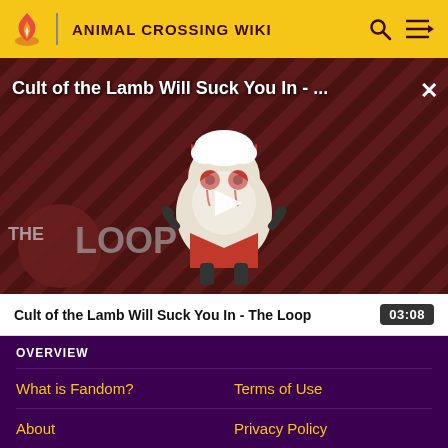ANIMAL CROSSING WIKI
[Figure (screenshot): Video thumbnail for 'Cult of the Lamb Will Suck You In - The Loop' showing an animated lamb character with red eyes on a striped red/black background with 'THE LOOP' text overlay and a play button in the center. A white X close button is in the top right corner.]
Cult of the Lamb Will Suck You In - The Loop
03:08
OVERVIEW
What is Fandom?
Terms of Use
About
Privacy Policy